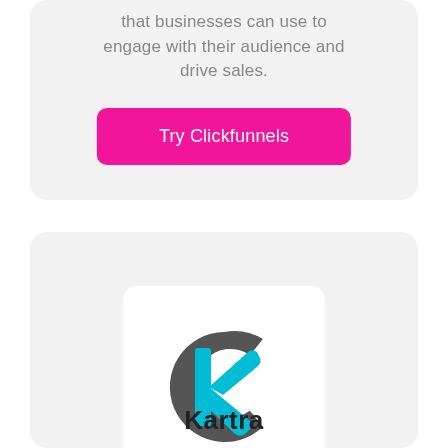that businesses can use to engage with their audience and drive sales.
[Figure (screenshot): Pink/magenta rounded rectangle button labeled 'Try Clickfunnels' in white text]
[Figure (logo): Kartra logo: circular icon with dark gray C-shape and cyan K letter mark inside white rounded square card]
Kartra